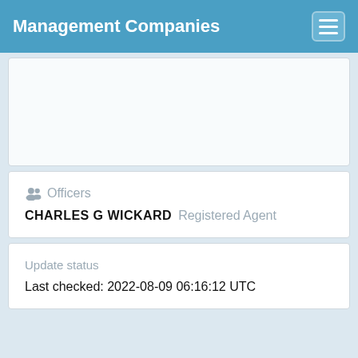Management Companies
Officers
CHARLES G WICKARD Registered Agent
Update status
Last checked: 2022-08-09 06:16:12 UTC